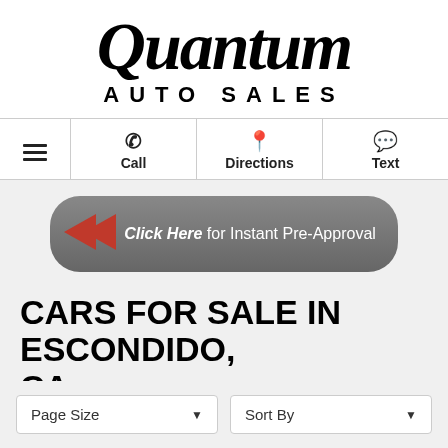[Figure (logo): Quantum Auto Sales logo — 'Quantum' in large bold italic serif font, 'AUTO SALES' in spaced bold sans-serif below]
Call | Directions | Text (navigation bar with icons)
[Figure (infographic): Red arrow pointing left toward a rounded grey button reading 'Click Here for Instant Pre-Approval']
CARS FOR SALE IN ESCONDIDO, CA
Page Size ▼   Sort By ▼